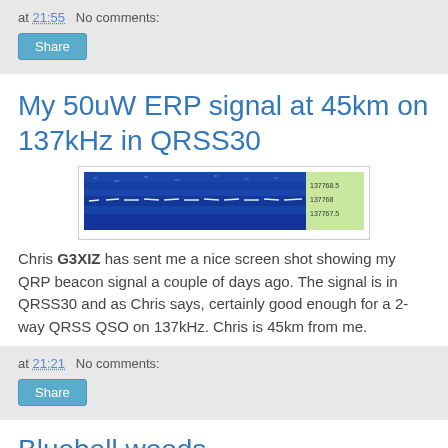at 21:55  No comments:
Share
My 50uW ERP signal at 45km on 137kHz in QRSS30
[Figure (screenshot): Spectrogram screenshot showing a faint white signal trace on a dark blue background with a green frequency scale panel on the right showing values 137768.5, 137768, 137767.5]
Chris G3XIZ has sent me a nice screen shot showing my QRP beacon signal a couple of days ago. The signal is in QRSS30 and as Chris says, certainly good enough for a 2-way QRSS QSO on 137kHz. Chris is 45km from me.
at 21:21  No comments:
Share
Bluebell woods